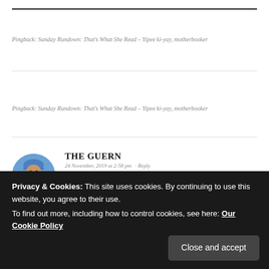Pingback: Sunday Rundown: That's What She Read – Yipee ki-yay, motherbooker
Pingback: Sunday Rundown: That's What She Read – Yipee ki-yay, motherbooker
THE GUERN
24 November, 2019 at 2:58 pm · Reply
Really appreciate what you have done here, recording
Privacy & Cookies: This site uses cookies. By continuing to use this website, you agree to their use.
To find out more, including how to control cookies, see here: Our Cookie Policy
Close and accept